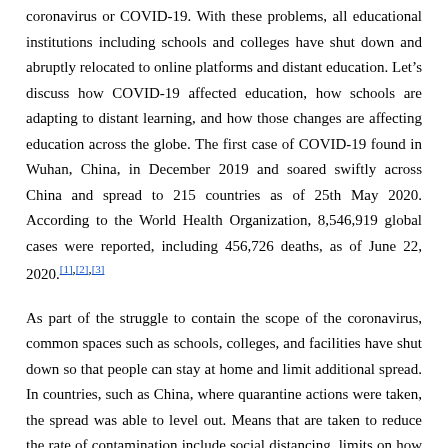coronavirus or COVID-19. With these problems, all educational institutions including schools and colleges have shut down and abruptly relocated to online platforms and distant education. Let’s discuss how COVID-19 affected education, how schools are adapting to distant learning, and how those changes are affecting education across the globe. The first case of COVID-19 found in Wuhan, China, in December 2019 and soared swiftly across China and spread to 215 countries as of 25th May 2020. According to the World Health Organization, 8,546,919 global cases were reported, including 456,726 deaths, as of June 22, 2020.[1],[2],[3]
As part of the struggle to contain the scope of the coronavirus, common spaces such as schools, colleges, and facilities have shut down so that people can stay at home and limit additional spread. In countries, such as China, where quarantine actions were taken, the spread was able to level out. Means that are taken to reduce the rate of contamination include social distancing, limits on how many people can be together at once, and home quarantine when essential. Shutting down schools and facilities ensures that people can restrict their interactions with others that regulate the spread of the virus while the healthcare system copes with the pandemic.
Several schools are deciding to continue their normal classes on online platforms